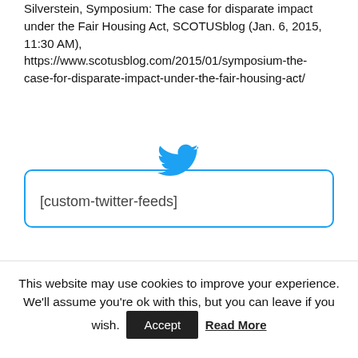Silverstein, Symposium: The case for disparate impact under the Fair Housing Act, SCOTUSblog (Jan. 6, 2015, 11:30 AM), https://www.scotusblog.com/2015/01/symposium-the-case-for-disparate-impact-under-the-fair-housing-act/
[Figure (illustration): Twitter bird logo icon in blue, centered above a bordered box containing the text [custom-twitter-feeds]]
[custom-twitter-feeds]
This website may use cookies to improve your experience. We'll assume you're ok with this, but you can leave if you wish. Accept Read More